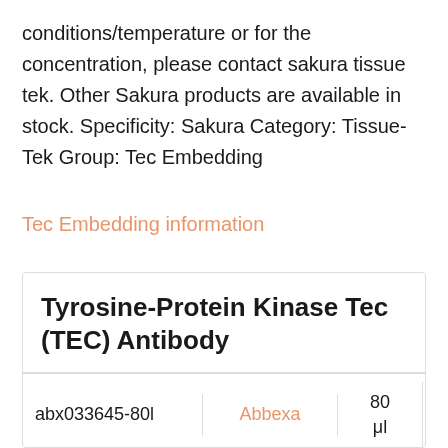conditions/temperature or for the concentration, please contact sakura tissue tek. Other Sakura products are available in stock. Specificity: Sakura Category: Tissue-Tek Group: Tec Embedding
Tec Embedding information
Tyrosine-Protein Kinase Tec (TEC) Antibody
| ID | Brand | Volume | Price |
| --- | --- | --- | --- |
| abx033645-80l | Abbexa | 80 μl | EUR 286 |